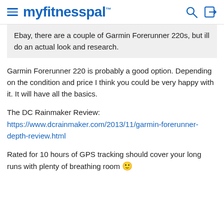myfitnesspal
Ebay, there are a couple of Garmin Forerunner 220s, but ill do an actual look and research.
Garmin Forerunner 220 is probably a good option. Depending on the condition and price I think you could be very happy with it. It will have all the basics.
The DC Rainmaker Review: https://www.dcrainmaker.com/2013/11/garmin-forerunner-depth-review.html
Rated for 10 hours of GPS tracking should cover your long runs with plenty of breathing room 🙂